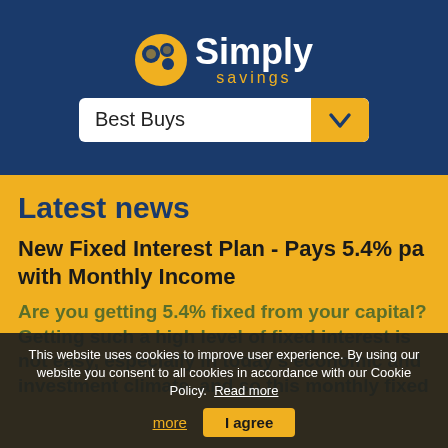[Figure (logo): Simply Savings logo with orange circular icon and white 'Simply' text, gold 'savings' text below]
Best Buys
Latest news
New Fixed Interest Plan - Pays 5.4% pa with Monthly Income
Are you getting 5.4% fixed from your capital? Getting such a high level of fixed interest is not easy, especially in today's economic and investment climate, and so this monthly fixed
This website uses cookies to improve user experience. By using our website you consent to all cookies in accordance with our Cookie Policy. Read more
Read more
I agree